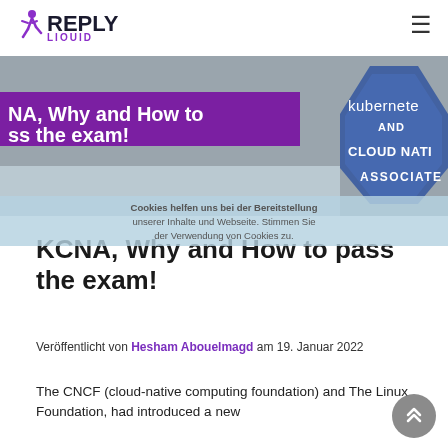REPLY LIQUID
[Figure (illustration): Hero banner showing purple overlay text 'NA, Why and How to ss the exam!' on the left side, and a blue hexagonal Kubernetes and Cloud Native Associate badge on the right side, against a grey background.]
Cookies helfen uns bei der Bereitstellung unserer Inhalte und Webseite. Stimmen Sie der Verwendung von Cookies zu.
KCNA, Why and How to pass the exam!
Veröffentlicht von Hesham Abouelmagd am 19. Januar 2022
The CNCF (cloud-native computing foundation) and The Linux Foundation, had introduced a new